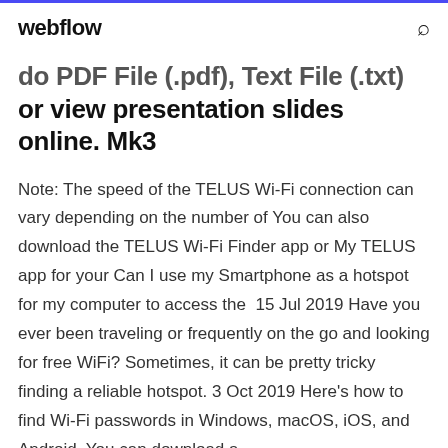webflow
do PDF File (.pdf), Text File (.txt) or view presentation slides online. Mk3
Note: The speed of the TELUS Wi-Fi connection can vary depending on the number of You can also download the TELUS Wi-Fi Finder app or My TELUS app for your Can I use my Smartphone as a hotspot for my computer to access the  15 Jul 2019 Have you ever been traveling or frequently on the go and looking for free WiFi? Sometimes, it can be pretty tricky finding a reliable hotspot. 3 Oct 2019 Here's how to find Wi-Fi passwords in Windows, macOS, iOS, and Android. You can download a